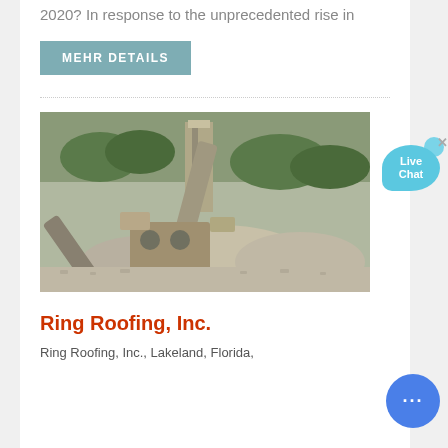2020? In response to the unprecedented rise in
MEHR DETAILS
[Figure (photo): Industrial mining/aggregate processing equipment with conveyor belts and stone piles at a quarry or processing site]
Ring Roofing, Inc.
Ring Roofing, Inc., Lakeland, Florida,